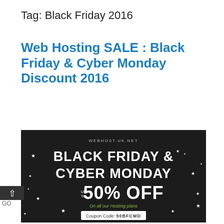Tag: Black Friday 2016
Web Hosting SALE : Black Friday & Cyber Monday Discount 2016
[Figure (illustration): Black promotional banner for WEBHOST.UK.NET showing 'BLACK FRIDAY & CYBER MONDAY UP TO 50% OFF On all our Hosting plans' with coupon code 50BFCMD, white text on dark background with stars]
black friday SALE